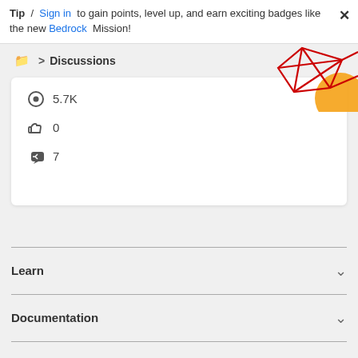Tip / Sign in to gain points, level up, and earn exciting badges like the new Bedrock Mission!
Discussions
[Figure (illustration): Decorative graphic with red geometric lines and orange circle in top-right corner]
5.7K views, 0 likes, 7 replies
Learn
Documentation